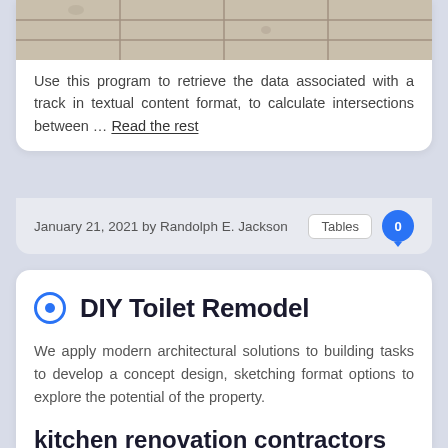[Figure (photo): Partial view of tiled floor/wall surface in beige/cream tones]
Use this program to retrieve the data associated with a track in textual content format, to calculate intersections between … Read the rest
January 21, 2021 by Randolph E. Jackson   Tables   0
DIY Toilet Remodel
We apply modern architectural solutions to building tasks to develop a concept design, sketching format options to explore the potential of the property.
kitchen renovation contractors